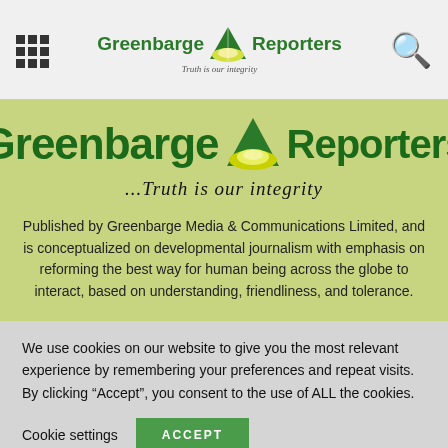Greenbarge Reporters — navigation header with grid menu and search icon
[Figure (logo): Greenbarge Reporters logo with mountain/sun graphic and tagline '...Truth is our integrity' on green background banner]
Published by Greenbarge Media & Communications Limited, and is conceptualized on developmental journalism with emphasis on reforming the best way for human being across the globe to interact, based on understanding, friendliness, and tolerance.
We use cookies on our website to give you the most relevant experience by remembering your preferences and repeat visits. By clicking “Accept”, you consent to the use of ALL the cookies.
Cookie settings   ACCEPT
I Will Fight Anyone W